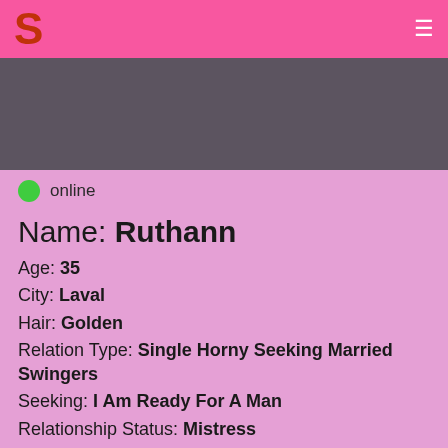S [logo] [hamburger menu]
[Figure (photo): Profile photo placeholder — dark grey/mauve rectangle]
online
Name: Ruthann
Age: 35
City: Laval
Hair: Golden
Relation Type: Single Horny Seeking Married Swingers
Seeking: I Am Ready For A Man
Relationship Status: Mistress